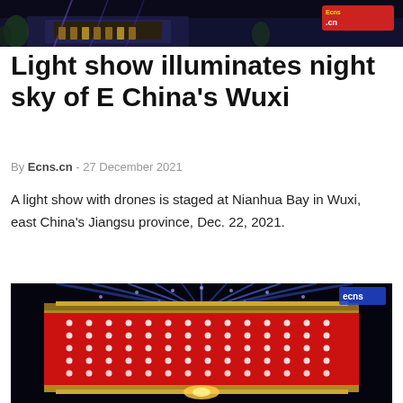[Figure (photo): Top banner photo showing a nighttime scene of a building with colorful lights and the Ecns.cn logo watermark in the top right corner]
Light show illuminates night sky of E China's Wuxi
By Ecns.cn - 27 December 2021
A light show with drones is staged at Nianhua Bay in Wuxi, east China's Jiangsu province, Dec. 22, 2021.
[Figure (photo): Photo of an illuminated cylindrical building at night with red LED lights on its facade and bright blue light beams shooting upward into the dark sky, with the Ecns.cn logo in the top right corner]